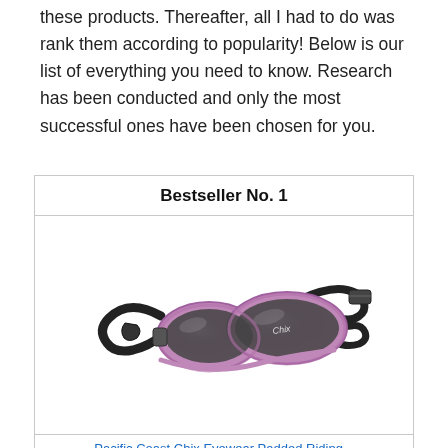these products. Thereafter, all I had to do was rank them according to popularity! Below is our list of everything you need to know. Research has been conducted and only the most successful ones have been chosen for you.
Bestseller No. 1
[Figure (photo): Pink-framed Chix motorcycle goggles/sunglasses with black elastic strap and dark smoke lenses]
Pacific Coast Chix Eyewear Padded Riding...